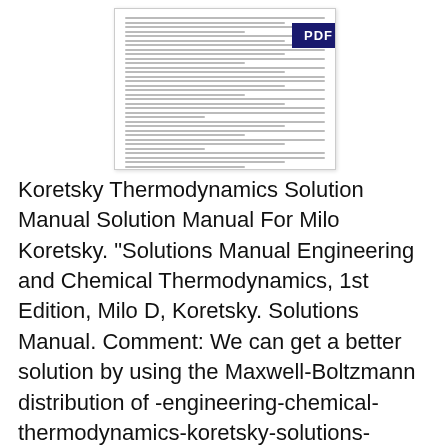[Figure (other): A rendered PDF document page showing dense small text with a dark navy PDF badge/label in the upper right corner of the document thumbnail.]
Koretsky Thermodynamics Solution Manual Solution Manual For Milo Koretsky. "Solutions Manual Engineering and Chemical Thermodynamics, 1st Edition, Milo D, Koretsky. Solutions Manual. Comment: We can get a better solution by using the Maxwell-Boltzmann distribution of -engineering-chemical-thermodynamics-koretsky-solutions-manual. Related Engineering And Chemical Thermodynamics Koretsky Solutions Manual file